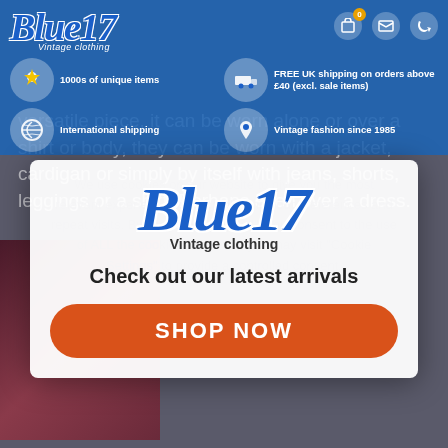[Figure (screenshot): Blue17 vintage clothing website screenshot with blue navigation header, feature icons (1000s of unique items, FREE UK shipping on orders above £40 excl. sale items, International shipping, Vintage fashion since 1985), background body text about versatile piece clothing, and a popup modal with Blue17 logo, 'Check out our latest arrivals' tagline, and orange SHOP NOW button overlaid on cookie consent text.]
Blue17 Vintage clothing
1000s of unique items
FREE UK shipping on orders above £40 (excl. sale items)
International shipping
Vintage fashion since 1985
versatile piece, it can be worn alone or over a shirt or body, they can be worn with a jacket, cardigan or simply by itself with jeans, shorts, leggings or a shirt. Perhaps even over a dress.
Blue17 Vintage clothing
Check out our latest arrivals
We use cookies on our website to give you the most relevant experience by remembering your preferences and repeat visits. By clicking "Accept All", you consent to the use of ALL the cookies. However, you may visit "Cookie Settings" to provide a controlled consent.
SHOP NOW